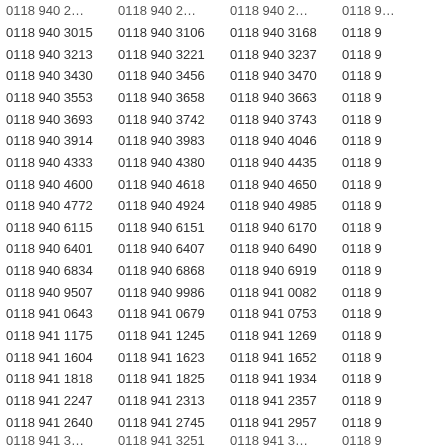Phone number list showing 0118 940/941 series numbers in a 4-column grid layout.